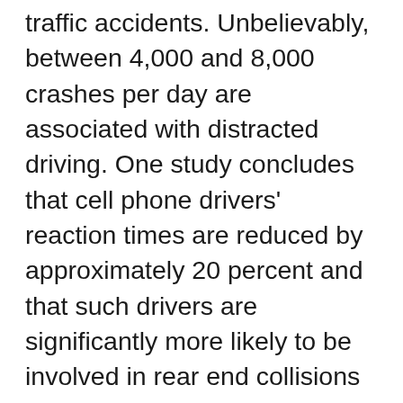traffic accidents. Unbelievably, between 4,000 and 8,000 crashes per day are associated with distracted driving. One study concludes that cell phone drivers' reaction times are reduced by approximately 20 percent and that such drivers are significantly more likely to be involved in rear end collisions than drivers not using cell phones, even though the drivers' eyes are fixed on the road ahead. The most startling conclusion of this study, is that the performance of drivers using cell phones is more impaired than drivers who are intoxicated. Another study concluded that